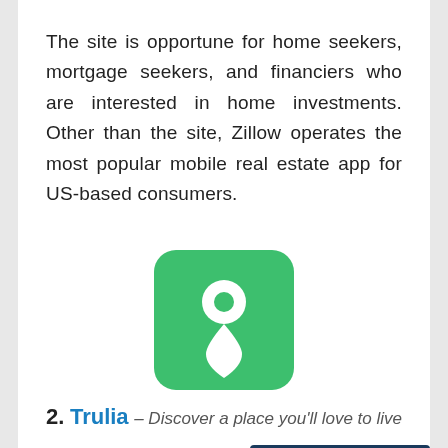The site is opportune for home seekers, mortgage seekers, and financiers who are interested in home investments. Other than the site, Zillow operates the most popular mobile real estate app for US-based consumers.
[Figure (logo): Trulia green rounded square logo with white map pin / location marker icon]
2. Trulia – Discover a place you'll love to live
About Trulia : Whether you are a buyer or an investor, finding real estate has become